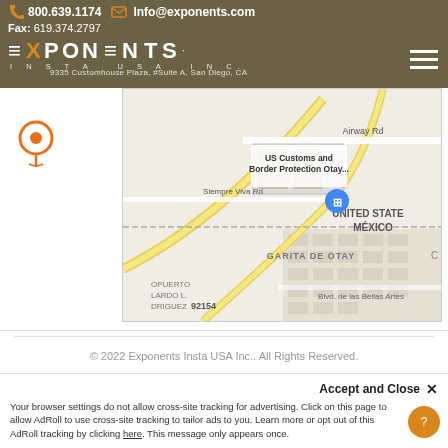800.639.1174  Info@exponents.com  Fax: 619.374.2797
[Figure (logo): Exponents Insurance logo with orange X on dark gold/olive background]
9335 Customhouse Plaza, #Suite A, San Diego, CA
[Figure (map): Google Maps screenshot showing US-Mexico border area near Otay Mesa, San Diego CA 92154. Shows US Customs and Border Protection Otay location, GARITA DE OTAY, UNITED STATES / MEXICO border, Siempre Viva Rd, Airway Rd, Blvd. de las Bellas Artes.]
© 2022 Exponents Insta USA Inc.. All Rights Reserved.
Accept and Close ✕
Your browser settings do not allow cross-site tracking for advertising. Click on this page to allow AdRoll to use cross-site tracking to tailor ads to you. Learn more or opt out of this AdRoll tracking by clicking here. This message only appears once.